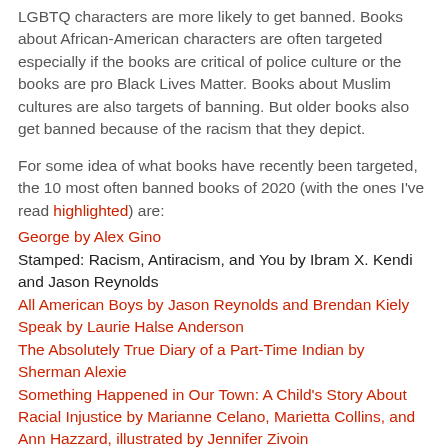LGBTQ characters are more likely to get banned. Books about African-American characters are often targeted especially if the books are critical of police culture or the books are pro Black Lives Matter. Books about Muslim cultures are also targets of banning. But older books also get banned because of the racism that they depict.
For some idea of what books have recently been targeted, the 10 most often banned books of 2020 (with the ones I've read highlighted) are:
George by Alex Gino
Stamped: Racism, Antiracism, and You by Ibram X. Kendi and Jason Reynolds
All American Boys by Jason Reynolds and Brendan Kiely
Speak by Laurie Halse Anderson
The Absolutely True Diary of a Part-Time Indian by Sherman Alexie
Something Happened in Our Town: A Child's Story About Racial Injustice by Marianne Celano, Marietta Collins, and Ann Hazzard, illustrated by Jennifer Zivoin
To Kill a Mockingbird by Harper Lee Of Mice and Men by John Steinbeck